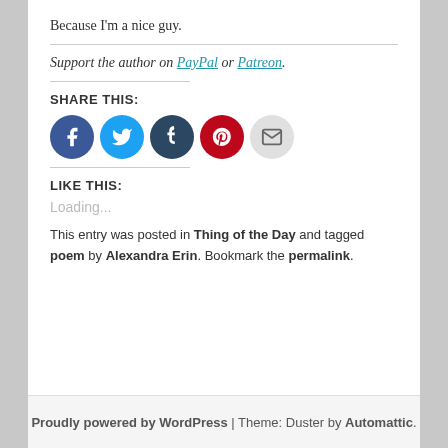Because I'm a nice guy.
Support the author on PayPal or Patreon.
SHARE THIS:
[Figure (other): Social share buttons: Facebook (blue), Twitter (light blue), Tumblr (dark blue), Pinterest (red), Email (light gray)]
LIKE THIS:
Loading...
This entry was posted in Thing of the Day and tagged poem by Alexandra Erin. Bookmark the permalink.
Proudly powered by WordPress | Theme: Duster by Automattic.